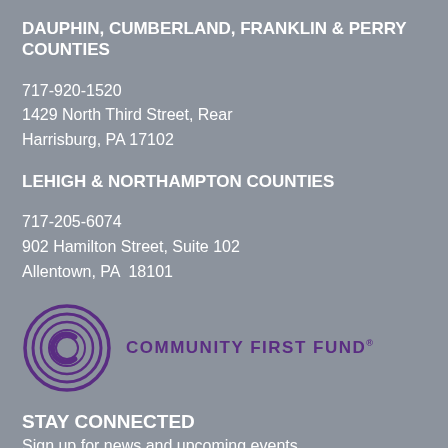DAUPHIN, CUMBERLAND, FRANKLIN & PERRY COUNTIES
717-920-1520
1429 North Third Street, Rear
Harrisburg, PA 17102
LEHIGH & NORTHAMPTON COUNTIES
717-205-6074
902 Hamilton Street, Suite 102
Allentown, PA  18101
[Figure (logo): Community First Fund logo with purple concentric circle C icon and text COMMUNITY FIRST FUND]
STAY CONNECTED
Sign up for news and upcoming events
EMAIL